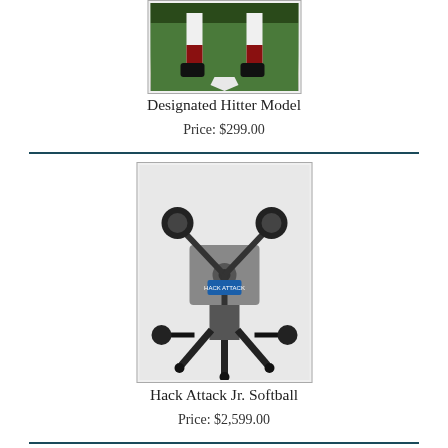[Figure (photo): Photo of baseball player legs and feet standing on home plate, wearing baseball cleats and socks — product image for Designated Hitter Model]
Designated Hitter Model
Price: $299.00
[Figure (photo): Photo of a pitching machine (Hack Attack Jr. Softball) — a mechanical device on a stand with multiple wheels/arms, front-facing view]
Hack Attack Jr. Softball
Price: $2,599.00